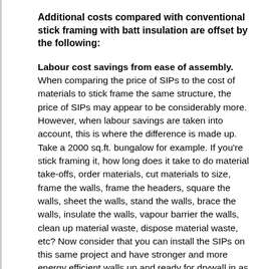Additional costs compared with conventional stick framing with batt insulation are offset by the following:
Labour cost savings from ease of assembly. When comparing the price of SIPs to the cost of materials to stick frame the same structure, the price of SIPs may appear to be considerably more. However, when labour savings are taken into account, this is where the difference is made up. Take a 2000 sq.ft. bungalow for example. If you're stick framing it, how long does it take to do material take-offs, order materials, cut materials to size, frame the walls, frame the headers, square the walls, sheet the walls, stand the walls, brace the walls, insulate the walls, vapour barrier the walls, clean up material waste, dispose material waste, etc? Now consider that you can install the SIPs on this same project and have stronger and more energy efficient walls up and ready for drywall in as little as 6 hours from the time they show up on site.
Less job site waste. EnerSmart panels are pre-fabricated in our factory specific to your project which results in an easy install with less waste going to the land fill. There is no